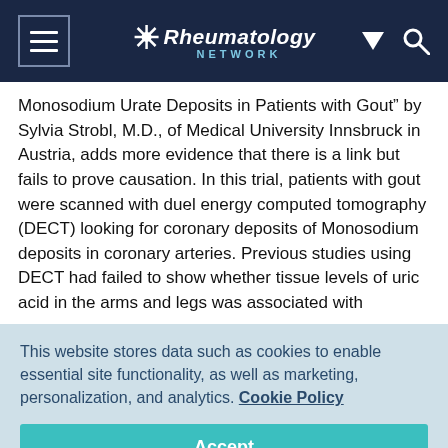Rheumatology Network
Monosodium Urate Deposits in Patients with Gout” by Sylvia Strobl, M.D., of Medical University Innsbruck in Austria, adds more evidence that there is a link but fails to prove causation. In this trial, patients with gout were scanned with duel energy computed tomography (DECT) looking for coronary deposits of Monosodium deposits in coronary arteries. Previous studies using DECT had failed to show whether tissue levels of uric acid in the arms and legs was associated with
This website stores data such as cookies to enable essential site functionality, as well as marketing, personalization, and analytics. Cookie Policy
Accept
Deny